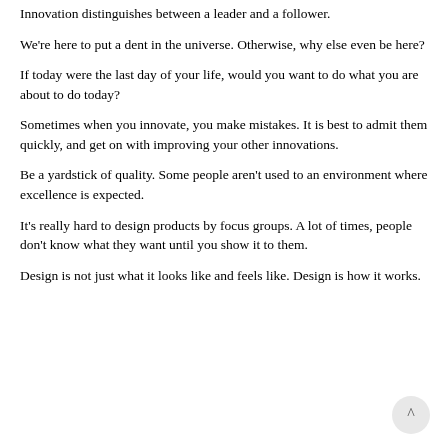Innovation distinguishes between a leader and a follower.
We're here to put a dent in the universe. Otherwise, why else even be here?
If today were the last day of your life, would you want to do what you are about to do today?
Sometimes when you innovate, you make mistakes. It is best to admit them quickly, and get on with improving your other innovations.
Be a yardstick of quality. Some people aren't used to an environment where excellence is expected.
It's really hard to design products by focus groups. A lot of times, people don't know what they want until you show it to them.
Design is not just what it looks like and feels like. Design is how it works.